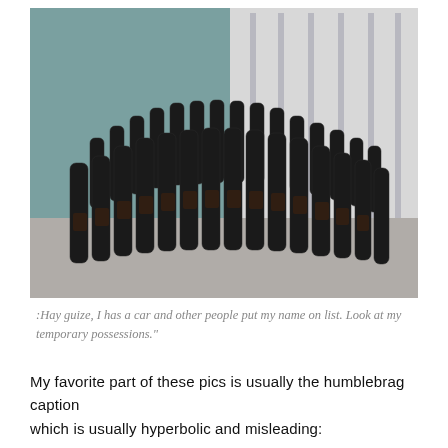[Figure (photo): A large collection of dark wine or beer bottles (approximately 30-40 bottles) arranged in a curved row on a carpeted floor against a corner where a teal/green wall meets white folding closet doors.]
:Hay guize, I has a car and other people put my name on list. Look at my temporary possessions."
My favorite part of these pics is usually the humblebrag caption which is usually hyperbolic and misleading: